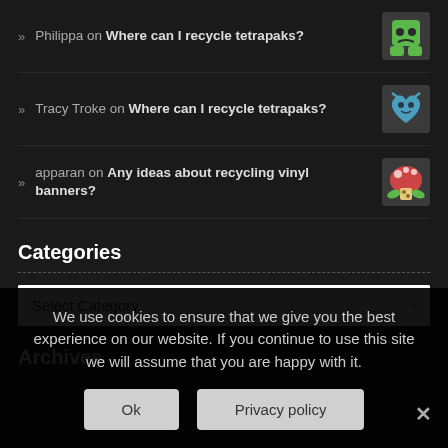Philippa on Where can I recycle tetrapaks?
Tracy Troke on Where can I recycle tetrapaks?
apparan on Any ideas about recycling vinyl banners?
Categories
Select Category
Archives
We use cookies to ensure that we give you the best experience on our website. If you continue to use this site we will assume that you are happy with it.
Ok
Privacy policy